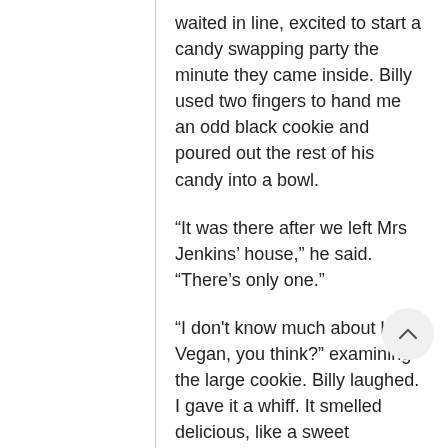waited in line, excited to start a candy swapping party the minute they came inside. Billy used two fingers to hand me an odd black cookie and poured out the rest of his candy into a bowl.
“It was there after we left Mrs Jenkins’ house,” he said. “There’s only one.”
“I don't know much about her. Vegan, you think?” examining the large cookie. Billy laughed. I gave it a whiff. It smelled delicious, like a sweet chocolate. I wondered if it tasted good. I broke cookie in half.
"What are these white specks?"
“Ooh, maybe they’re sugar cubes.” Billy